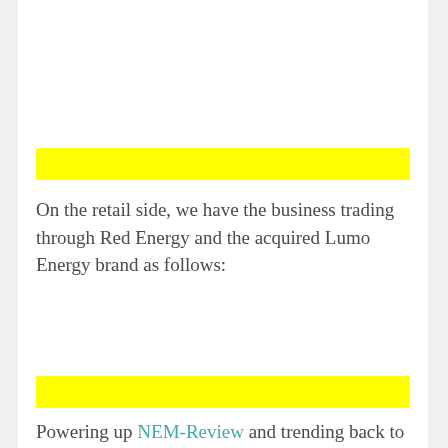[Figure (other): Yellow horizontal highlight bar]
On the retail side, we have the business trading through Red Energy and the acquired Lumo Energy brand as follows:
[Figure (other): Yellow horizontal highlight bar]
Powering up NEM-Review and trending back to the